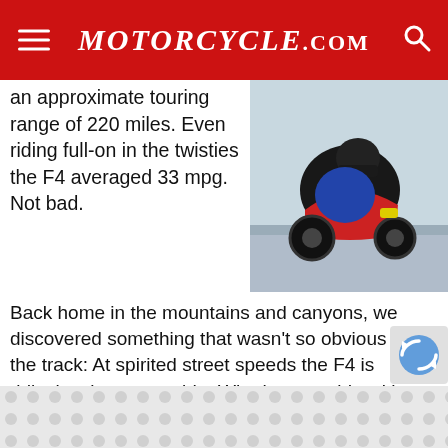Motorcycle.com
an approximate touring range of 220 miles. Even riding full-on in the twisties the F4 averaged 33 mpg. Not bad.
[Figure (photo): Motorcycle rider leaning hard into a corner on track, seen from behind/side angle. Red and black sport bike.]
Back home in the mountains and canyons, we discovered something that wasn't so obvious on the track: At spirited street speeds the F4 is ridiculously easy to ride. Whether you ride with a lot of body lean or prefer aggressive counter-steering, the CBR600F4 will adapt to your style. It takes very little work to ride and it is very forgiving in case you encounter loose road surfaces or whenever you might need to make mid-corner adjustments. The F4 is a great street bike.
[Figure (photo): Motorcycle on display or in motion, colorful red and yellow sport bike, partial view.]
All the suspension setting